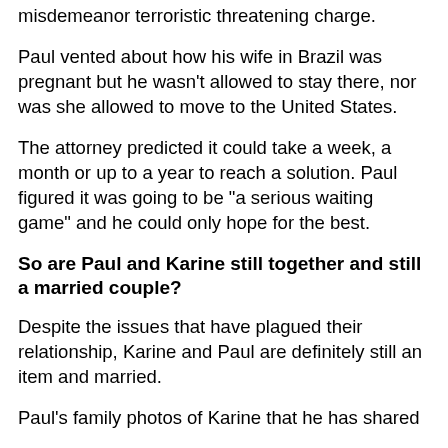misdemeanor terroristic threatening charge.
Paul vented about how his wife in Brazil was pregnant but he wasn't allowed to stay there, nor was she allowed to move to the United States.
The attorney predicted it could take a week, a month or up to a year to reach a solution. Paul figured it was going to be "a serious waiting game" and he could only hope for the best.
So are Paul and Karine still together and still a married couple?
Despite the issues that have plagued their relationship, Karine and Paul are definitely still an item and married.
Paul's family photos of Karine that he has shared